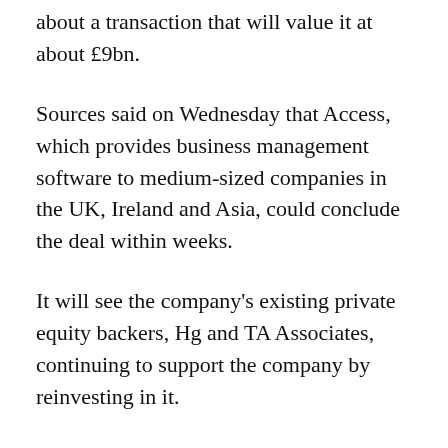about a transaction that will value it at about £9bn.
Sources said on Wednesday that Access, which provides business management software to medium-sized companies in the UK, Ireland and Asia, could conclude the deal within weeks.
It will see the company's existing private equity backers, Hg and TA Associates, continuing to support the company by reinvesting in it.
Singapore's Government Investment Corporation (GIC) is expected to become a significant minority shareholder as part of the deal.